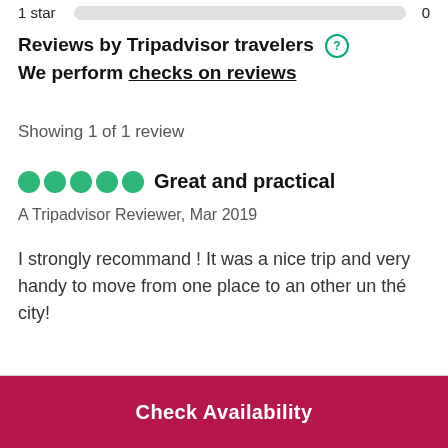1 star   0
Reviews by Tripadvisor travelers  We perform checks on reviews
Showing 1 of 1 review
Great and practical
A Tripadvisor Reviewer, Mar 2019
I strongly recommand ! It was a nice trip and very handy to move from one place to an other un thé city!
Check Availability